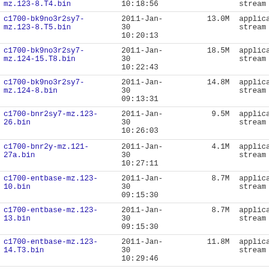| Filename | Date/Time | Size | Type |
| --- | --- | --- | --- |
| mz.123-8.T4.bin | 10:18:56 |  | stream |
| c1700-bk9no3r2sy7-mz.123-8.T5.bin | 2011-Jan-30 10:20:13 | 13.0M | application/octet-stream |
| c1700-bk9no3r2sy7-mz.124-15.T8.bin | 2011-Jan-30 10:22:43 | 18.5M | application/octet-stream |
| c1700-bk9no3r2sy7-mz.124-8.bin | 2011-Jan-30 09:13:31 | 14.8M | application/octet-stream |
| c1700-bnr2sy7-mz.123-26.bin | 2011-Jan-30 10:26:03 | 9.5M | application/octet-stream |
| c1700-bnr2y-mz.121-27a.bin | 2011-Jan-30 10:27:11 | 4.1M | application/octet-stream |
| c1700-entbase-mz.123-10.bin | 2011-Jan-30 09:15:30 | 8.7M | application/octet-stream |
| c1700-entbase-mz.123-13.bin | 2011-Jan-30 09:15:30 | 8.7M | application/octet-stream |
| c1700-entbase-mz.123-14.T3.bin | 2011-Jan-30 10:29:46 | 11.8M | application/octet-stream |
| c1700-entbase-mz.123-4.XK3.bin | 2011-Jan-30 09:17:00 | 10.6M | application/octet-stream |
| c1700-entbase-mz.123-4.XK4.bin | 2011-Jan-30 10:32:27 | 10.6M | application/octet-stream |
| c1700-entbase-mz.124-... | 2011-Jan- |  | application/o... |